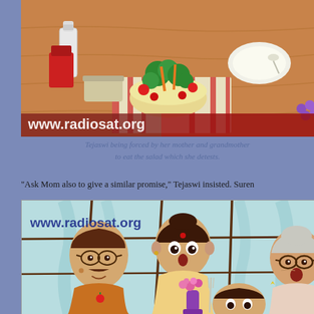[Figure (illustration): Colored pencil illustration of a dining table with food items including a salad bowl with vegetables, broccoli, tomatoes, a milk bottle, and other dishes. Website watermark www.radiosat.org visible at bottom left of image.]
Tejaswi being forced by her mother and grandmother to eat the salad which she detests.
"Ask Mom also to give a similar promise," Tejaswi insisted. Suren
[Figure (illustration): Colored pencil illustration of cartoon family characters - a father with glasses, a mother with a bindi, a child, and a grandmother with glasses, all seated at a table with a flower vase. Website watermark www.radiosat.org visible at top left.]